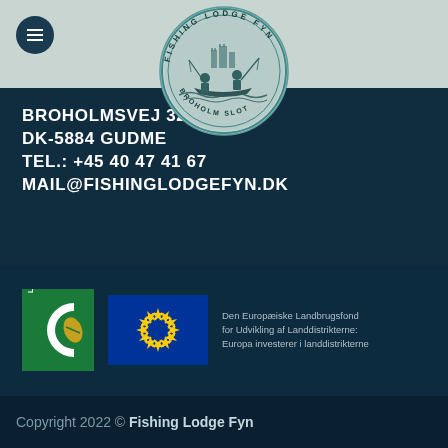[Figure (logo): Fishing Lodge Fyn circular logo with teal fishing scene illustration and text BROHOLMSLOT around the border]
BROHOLMSVEJ 32
DK-5884 GUDME
TEL.: +45 40 47 41 67
MAIL@FISHINGLODGEFYN.DK
[Figure (logo): LEADER program logo — green square with white C shape and golden coffee bean/leaf]
[Figure (logo): European Union flag — blue rectangle with circle of 12 yellow stars]
Den Europæiske Landbrugsfond for Udvikling af Landdistrikterne: Europa investerer i landdistrikterne
Copyright 2022 © Fishing Lodge Fyn